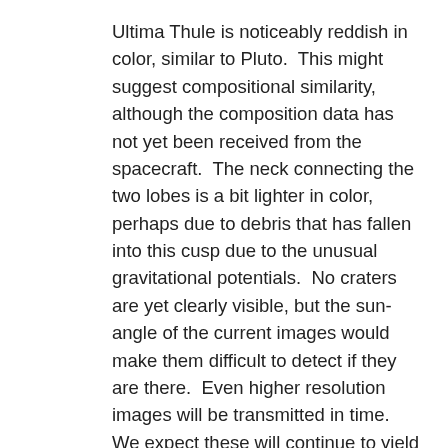Ultima Thule is noticeably reddish in color, similar to Pluto.  This might suggest compositional similarity, although the composition data has not yet been received from the spacecraft.  The neck connecting the two lobes is a bit lighter in color, perhaps due to debris that has fallen into this cusp due to the unusual gravitational potentials.  No craters are yet clearly visible, but the sun-angle of the current images would make them difficult to detect if they are there.  Even higher resolution images will be transmitted in time.  We expect these will continue to yield some wonderful surprises, consistent with the creativity of the Lord.